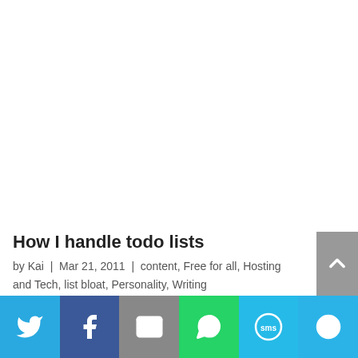How I handle todo lists
by Kai | Mar 21, 2011 | content, Free for all, Hosting and Tech, list bloat, Personality, Writing
[Figure (infographic): Social share bar with icons for Twitter, Facebook, Email, WhatsApp, SMS, and More]